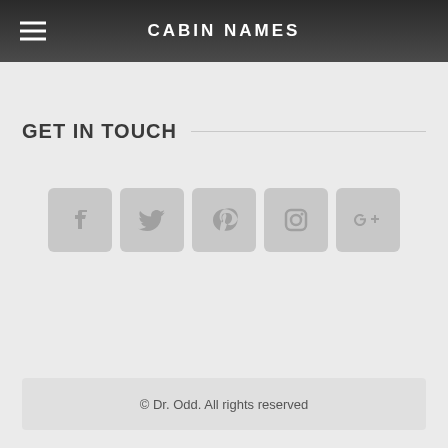CABIN NAMES
GET IN TOUCH
[Figure (other): Row of 5 social media icon buttons: Facebook, Twitter, Pinterest, Instagram, Google+]
© Dr. Odd. All rights reserved